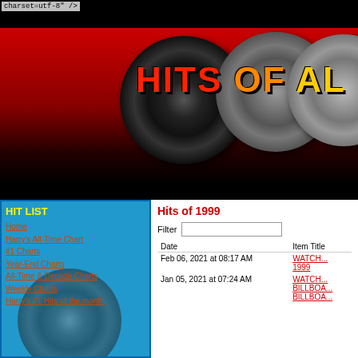charset=utf-8" />
[Figure (illustration): Website banner with 'HITS OF ALL' text in red/orange/yellow over vinyl records on a red-to-black gradient background]
HIT LIST
Home
Harry's All-Time Chart
#1 Charts
Year-End Charts
All-Time & Decade Charts
Weekly Charts
Harry's #1 Hits of the month
Hits of 1999
| Date | Item Title |
| --- | --- |
| Feb 06, 2021 at 08:17 AM | WATCH... 1999 |
| Jan 05, 2021 at 07:24 AM | WATCH... BILLBOA... BILLBOA... |